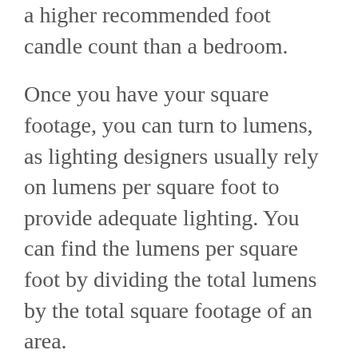a higher recommended foot candle count than a bedroom.
Once you have your square footage, you can turn to lumens, as lighting designers usually rely on lumens per square foot to provide adequate lighting. You can find the lumens per square foot by dividing the total lumens by the total square footage of an area.
Let's say you have a 120-square-foot area lit by a single fixture with two bulbs at 800 lumens each (a total of 1,600 lumens for the fixture). You